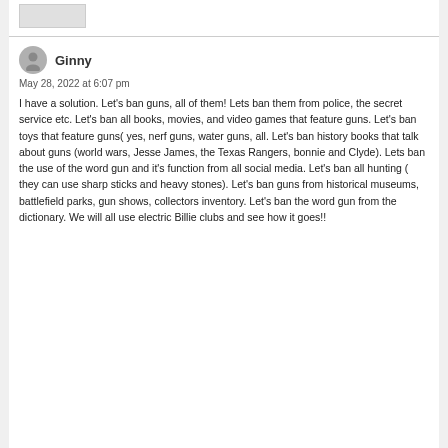Ginny
May 28, 2022 at 6:07 pm
I have a solution. Let's ban guns, all of them! Lets ban them from police, the secret service etc. Let's ban all books, movies, and video games that feature guns. Let's ban toys that feature guns( yes, nerf guns, water guns, all. Let's ban history books that talk about guns (world wars, Jesse James, the Texas Rangers, bonnie and Clyde). Lets ban the use of the word gun and it's function from all social media. Let's ban all hunting ( they can use sharp sticks and heavy stones). Let's ban guns from historical museums, battlefield parks, gun shows, collectors inventory. Let's ban the word gun from the dictionary. We will all use electric Billie clubs and see how it goes!!